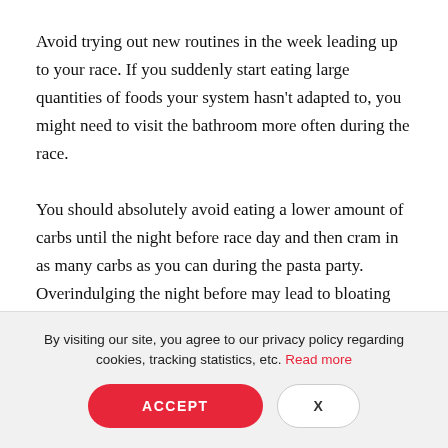Avoid trying out new routines in the week leading up to your race. If you suddenly start eating large quantities of foods your system hasn't adapted to, you might need to visit the bathroom more often during the race.
You should absolutely avoid eating a lower amount of carbs until the night before race day and then cram in as many carbs as you can during the pasta party. Overindulging the night before may lead to bloating and severe tummy troubles during your run.
A note on low carb and
By visiting our site, you agree to our privacy policy regarding cookies, tracking statistics, etc. Read more